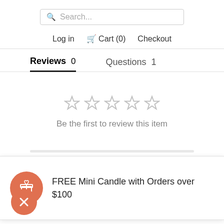[Figure (screenshot): Search bar with magnifying glass icon and placeholder text 'Search...']
Log in  Cart (0)  Checkout
Reviews 0    Questions 1
[Figure (infographic): Five gray empty star rating icons in a row]
Be the first to review this item
FREE Mini Candle with Orders over $100
[Figure (illustration): Orange close/dismiss button with X icon]